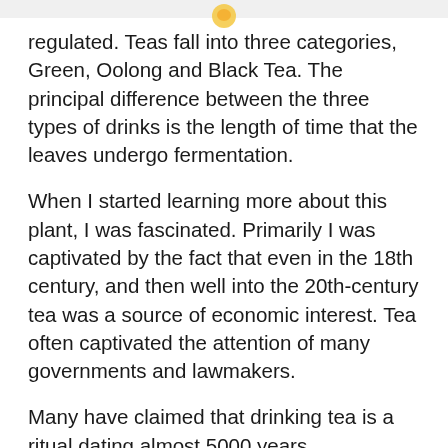regulated. Teas fall into three categories, Green, Oolong and Black Tea. The principal difference between the three types of drinks is the length of time that the leaves undergo fermentation.
When I started learning more about this plant, I was fascinated. Primarily I was captivated by the fact that even in the 18th century, and then well into the 20th-century tea was a source of economic interest. Tea often captivated the attention of many governments and lawmakers.
Many have claimed that drinking tea is a ritual dating almost 5000 years. Purportedly, it was also discovered in 2737 BC by Chinese Shen-Nong,  referred to as "The Divine Farmer or Divine Healer."